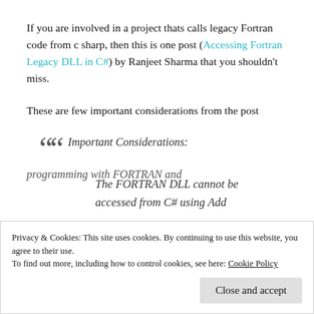If you are involved in a project thats calls legacy Fortran code from c sharp, then this is one post (Accessing Fortran Legacy DLL in C#) by Ranjeet Sharma that you shouldn't miss.
These are few important considerations from the post
" Important Considerations:

The FORTRAN DLL cannot be accessed from C# using Add
Privacy & Cookies: This site uses cookies. By continuing to use this website, you agree to their use.
To find out more, including how to control cookies, see here: Cookie Policy
programming with FORTRAN and